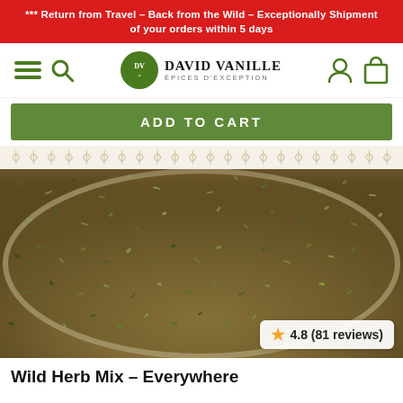*** Return from Travel – Back from the Wild – Exceptionally Shipment of your orders within 5 days
[Figure (logo): David Vanille Epices d'Exception logo with green circle and DV monogram]
ADD TO CART
[Figure (photo): Close-up photo of a glass jar filled with dried wild herb mix showing green and brown dried herbs and flakes]
4.8 (81 reviews)
Wild Herb Mix – Everywhere